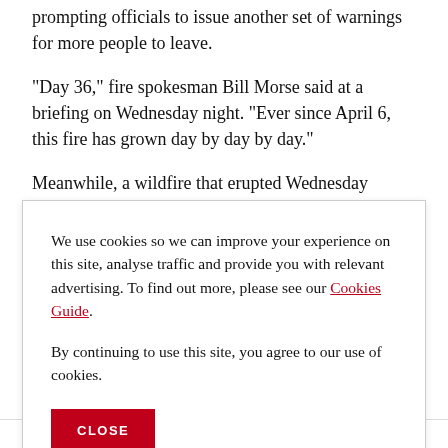prompting officials to issue another set of warnings for more people to leave.
"Day 36," fire spokesman Bill Morse said at a briefing on Wednesday night. "Ever since April 6, this fire has grown day by day by day."
Meanwhile, a wildfire that erupted Wednesday
We use cookies so we can improve your experience on this site, analyse traffic and provide you with relevant advertising. To find out more, please see our Cookies Guide.
By continuing to use this site, you agree to our use of cookies.